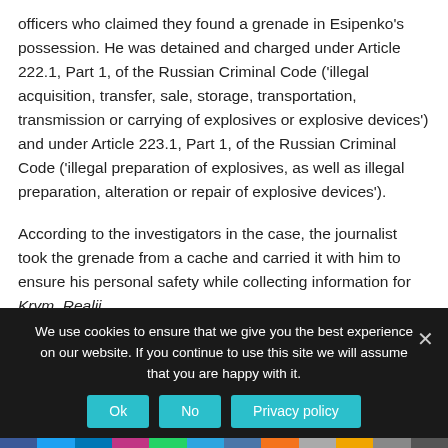officers who claimed they found a grenade in Esipenko's possession. He was detained and charged under Article 222.1, Part 1, of the Russian Criminal Code ('illegal acquisition, transfer, sale, storage, transportation, transmission or carrying of explosives or explosive devices') and under Article 223.1, Part 1, of the Russian Criminal Code ('illegal preparation of explosives, as well as illegal preparation, alteration or repair of explosive devices').
According to the investigators in the case, the journalist took the grenade from a cache and carried it with him to ensure his personal safety while collecting information for Krym. Realii.
We use cookies to ensure that we give you the best experience on our website. If you continue to use this site we will assume that you are happy with it.